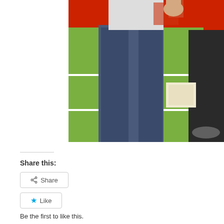[Figure (photo): A photo showing people standing near a green shelving unit with a red tablecloth/floor. One person is wearing jeans and another is wearing dark pants. The shelving unit has a white grid pattern and there appears to be items on top including something red.]
Share this:
Share
Like
Be the first to like this.